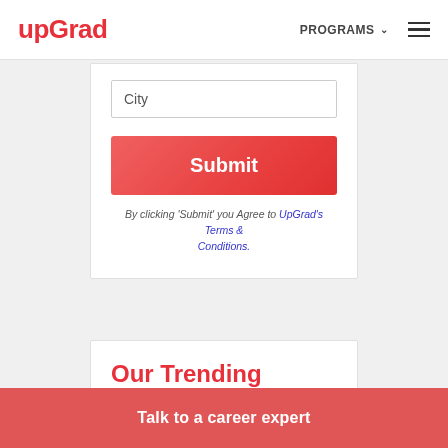upGrad | PROGRAMS ≡
City
Submit
By clicking 'Submit' you Agree to UpGrad's Terms & Conditions.
Our Trending Product Management Courses
Talk to a career expert